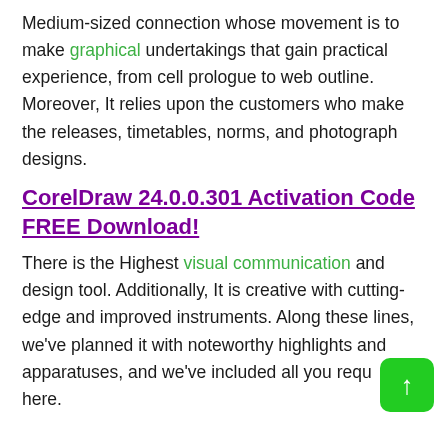Medium-sized connection whose movement is to make graphical undertakings that gain practical experience, from cell prologue to web outline. Moreover, It relies upon the customers who make the releases, timetables, norms, and photograph designs.
CorelDraw 24.0.0.301 Activation Code FREE Download!
There is the Highest visual communication and design tool. Additionally, It is creative with cutting-edge and improved instruments. Along these lines, we've planned it with noteworthy highlights and apparatuses, and we've included all you requ… here.